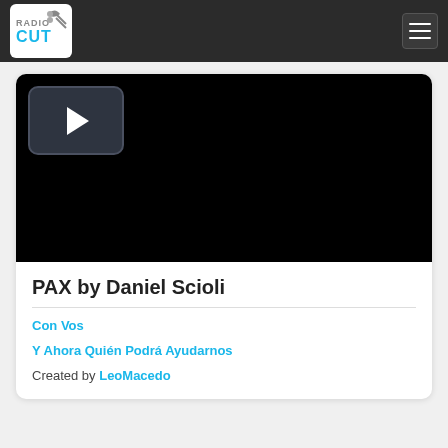[Figure (logo): RadioCut logo — stylized scissors/radio icon with 'RADIO CUT' text in grey and cyan]
[Figure (screenshot): Video player with black background and a play button in the top-left corner]
PAX by Daniel Scioli
Con Vos
Y Ahora Quién Podrá Ayudarnos
Created by LeoMacedo